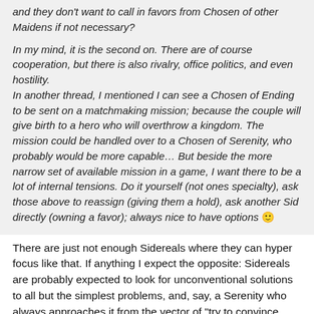and they don't want to call in favors from Chosen of other Maidens if not necessary?

In my mind, it is the second on. There are of course cooperation, but there is also rivalry, office politics, and even hostility.
In another thread, I mentioned I can see a Chosen of Ending to be sent on a matchmaking mission; because the couple will give birth to a hero who will overthrow a kingdom. The mission could be handled over to a Chosen of Serenity, who probably would be more capable… But beside the more narrow set of available mission in a game, I want there to be a lot of internal tensions. Do it yourself (not ones specialty), ask those above to reassign (giving them a hold), ask another Sid directly (owning a favor); always nice to have options 🙂
There are just not enough Sidereals where they can hyper focus like that. If anything I expect the opposite: Sidereals are probably expected to look for unconventional solutions to all but the simplest problems, and, say, a Serenity who always approaches it from the vector of "try to convince everyone to be nice" is probably looked at as naive at best, stupid at worst.
Originally posted by Colapso
On the same token, I imagine the Chosen of Battles and Chosen of Serenities probably squabble quite a bit on whether the solution of a problem should be war or peace, and resent the other side when it is chosen, but will still go ahead and